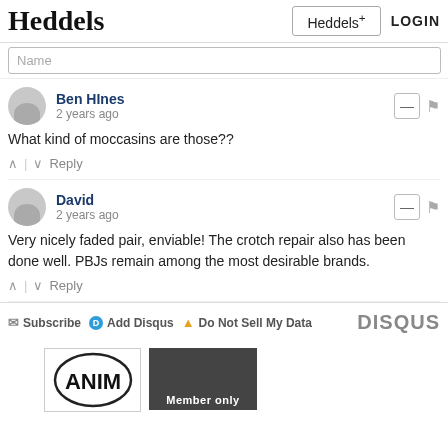Heddels | Heddels+ | LOGIN
Name
Ben HInes
2 years ago
What kind of moccasins are those??
David
2 years ago
Very nicely faded pair, enviable! The crotch repair also has been done well. PBJs remain among the most desirable brands.
Subscribe  Add Disqus  Do Not Sell My Data  DISQUS
[Figure (logo): ANIM logo circle]
[Figure (photo): Member only dark image]